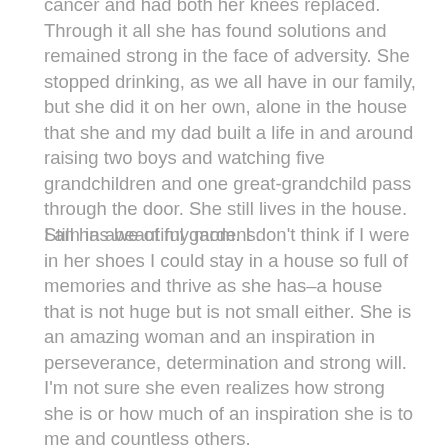cancer and had both her knees replaced. Through it all she has found solutions and remained strong in the face of adversity. She stopped drinking, as we all have in our family, but she did it on her own, alone in the house that she and my dad built a life in and around raising two boys and watching five grandchildren and one great-grandchild pass through the door. She still lives in the house. Still has beautiful gardens.
I am in awe of my mom. I don't think if I were in her shoes I could stay in a house so full of memories and thrive as she has–a house that is not huge but is not small either. She is an amazing woman and an inspiration in perseverance, determination and strong will. I'm not sure she even realizes how strong she is or how much of an inspiration she is to me and countless others.